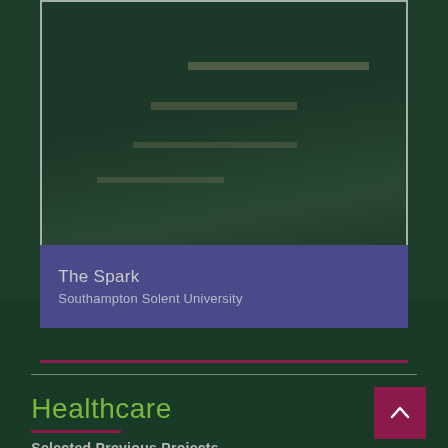[Figure (photo): Interior building photograph showing shelving/library space, dark tones with green tint, framed with thin white border on dark green background]
The Spark
Southampton Solent University
Healthcare
Selected Previous Projects